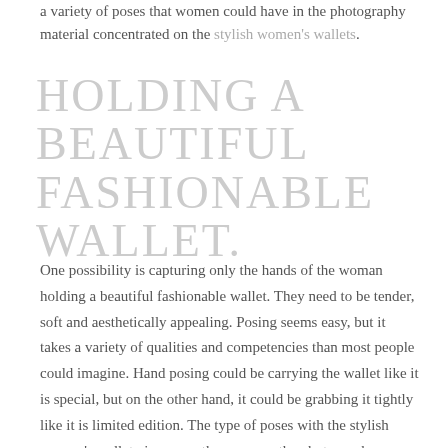a variety of poses that women could have in the photography material concentrated on the stylish women's wallets.
HOLDING A BEAUTIFUL FASHIONABLE WALLET.
One possibility is capturing only the hands of the woman holding a beautiful fashionable wallet. They need to be tender, soft and aesthetically appealing. Posing seems easy, but it takes a variety of qualities and competencies than most people could imagine. Hand posing could be carrying the wallet like it is special, but on the other hand, it could be grabbing it tightly like it is limited edition. The type of poses with the stylish women's wallet give away the message the photographer or brand want the customer to get. There is also the photography sceneries